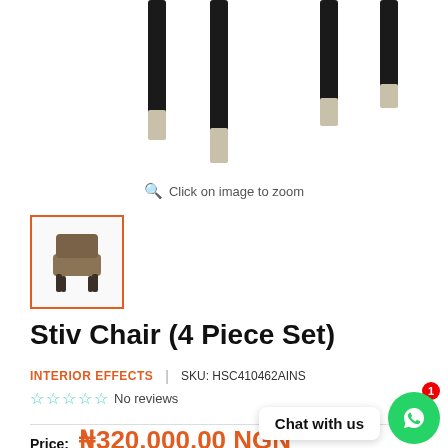[Figure (photo): Chair legs visible at top of page — partial product image showing black legs with chrome/silver tips of a dining chair set]
Click on image to zoom
[Figure (photo): Thumbnail image of the Stiv Chair with orange border — small brown/tan upholstered dining chair with dark legs]
Stiv Chair (4 Piece Set)
INTERIOR EFFECTS  |  SKU: HSC410462AINS
☆ ☆ ☆ ☆ ☆ No reviews
Price:  ₦320,000.00 NGN